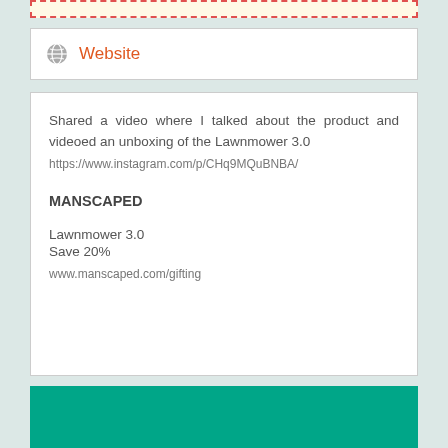[Figure (other): Red dashed border box strip at top, yellow background, indicating a form input area]
Website
Shared a video where I talked about the product and videoed an unboxing of the Lawnmower 3.0
https://www.instagram.com/p/CHq9MQuBNBA/
MANSCAPED
Lawnmower 3.0
Save 20%
www.manscaped.com/gifting
[Figure (other): Teal/green colored bar at the bottom of the page]